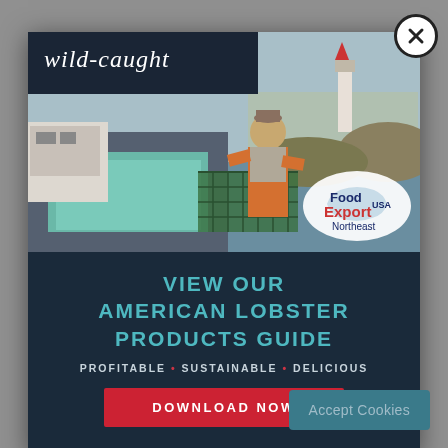[Figure (photo): Modal popup advertisement showing a fisherman on a boat working with lobster traps, with a lighthouse in the background. A 'wild-caught' banner overlays the top-left. A Food Export USA Northeast logo appears in the bottom-right of the photo.]
VIEW OUR AMERICAN LOBSTER PRODUCTS GUIDE
PROFITABLE • SUSTAINABLE • DELICIOUS
DOWNLOAD NOW
Accept Cookies